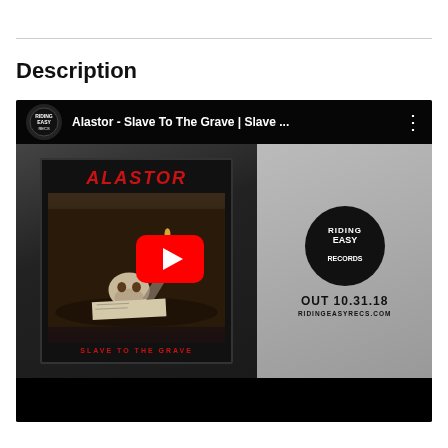Description
[Figure (screenshot): YouTube video thumbnail showing Alastor - Slave To The Grave album art on the left with a skull still-life dark background, a YouTube play button in the center, and the Riding Easy Records logo with 'OUT 10.31.18' and 'RIDINGEASYRECS.COM' text on the right. The video title bar reads 'Alastor - Slave To The Grave | Slave ...']